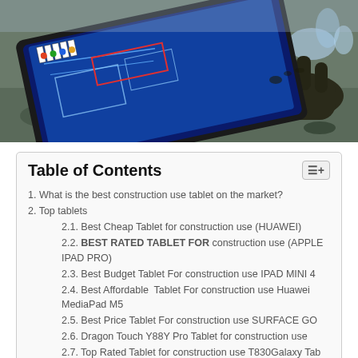[Figure (photo): A person wearing dirty work gloves holding a tablet displaying what appears to be a blueprint or construction plan application with colorful interface elements on a blue screen.]
Table of Contents
1. What is the best construction use tablet on the market?
2. Top tablets
2.1. Best Cheap Tablet for construction use (HUAWEI)
2.2. BEST RATED TABLET FOR construction use (APPLE IPAD PRO)
2.3. Best Budget Tablet For construction use IPAD MINI 4
2.4. Best Affordable  Tablet For construction use Huawei MediaPad M5
2.5. Best Price Tablet For construction use SURFACE GO
2.6. Dragon Touch Y88Y Pro Tablet for construction use
2.7. Top Rated Tablet for construction use T830Galaxy Tab S4
2.8. Samsung Tablet for construction use SAMSUNG Galaxy Tab A7